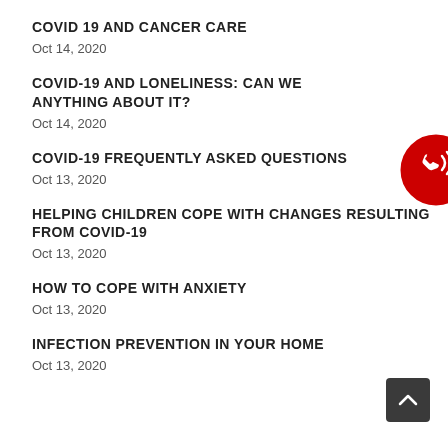COVID 19 AND CANCER CARE
Oct 14, 2020
COVID-19 AND LONELINESS: CAN WE ANYTHING ABOUT IT?
Oct 14, 2020
COVID-19 FREQUENTLY ASKED QUESTIONS
Oct 13, 2020
HELPING CHILDREN COPE WITH CHANGES RESULTING FROM COVID-19
Oct 13, 2020
HOW TO COPE WITH ANXIETY
Oct 13, 2020
INFECTION PREVENTION IN YOUR HOME
Oct 13, 2020